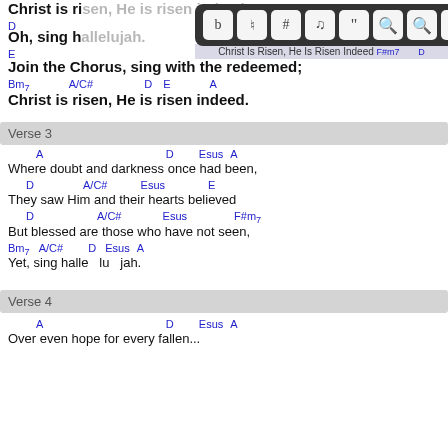Christ is risen, He is risen indeed!
D
Oh, sing hallelujah.
E
Join the Chorus, sing with the redeemed;
Bm7   A/C#   D E   A
Christ is risen, He is risen indeed.
Verse 3
A                    D      Esus  A
Where doubt and darkness once had been,
D          A/C#      Esus         E
They saw Him and their hearts believed
D              A/C#        Esus          F#m7
But blessed are those who have not seen,
Bm7  A/C#      D   Esus A
Yet, sing hallelujah.
Verse 4
A                    D      Esus  A
Over even hope for every fallen...